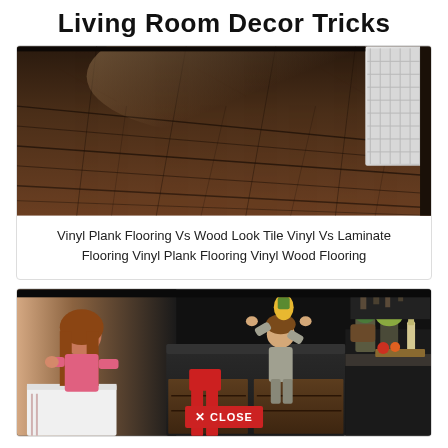Living Room Decor Tricks
[Figure (photo): Dark wood-look vinyl plank flooring shot from a low angle, showing wide planks receding into a room with white trim visible in the upper right corner.]
Vinyl Plank Flooring Vs Wood Look Tile Vinyl Vs Laminate Flooring Vinyl Plank Flooring Vinyl Wood Flooring
[Figure (photo): Kitchen/dining scene with a girl in pink sitting at a white table, a toddler reaching up to a dark kitchen island holding a pineapple, and greenery and food items on the counter. A red metal chair is visible. A CLOSE button overlay appears at the bottom center.]